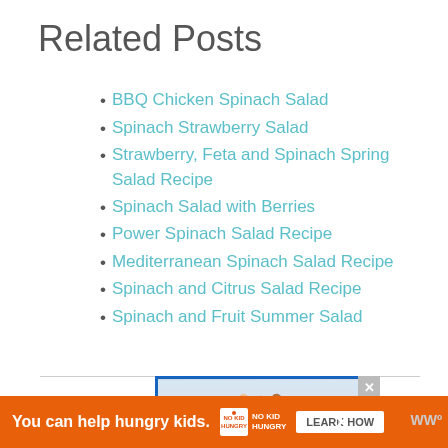Related Posts
BBQ Chicken Spinach Salad
Spinach Strawberry Salad
Strawberry, Feta and Spinach Spring Salad Recipe
Spinach Salad with Berries
Power Spinach Salad Recipe
Mediterranean Spinach Salad Recipe
Spinach and Citrus Salad Recipe
Spinach and Fruit Summer Salad
[Figure (photo): Two people holding hands against a light sky background, shown in an advertisement box with blue border]
[Figure (infographic): Orange advertisement banner: 'You can help hungry kids.' with No Kid Hungry logo and LEARN HOW button]